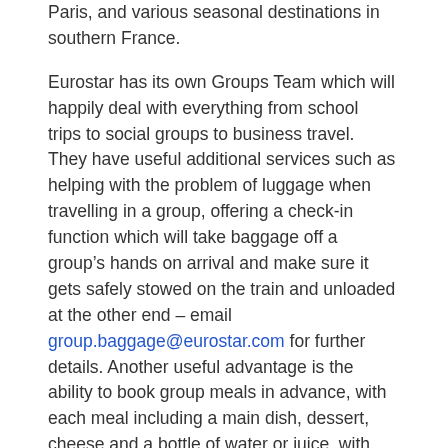Paris, and various seasonal destinations in southern France.
Eurostar has its own Groups Team which will happily deal with everything from school trips to social groups to business travel. They have useful additional services such as helping with the problem of luggage when travelling in a group, offering a check-in function which will take baggage off a group's hands on arrival and make sure it gets safely stowed on the train and unloaded at the other end – email group.baggage@eurostar.com for further details. Another useful advantage is the ability to book group meals in advance, with each meal including a main dish, dessert, cheese and a bottle of water or juice, with many optional extras including hot and alcoholic drinks. For those groups who want to save their spending